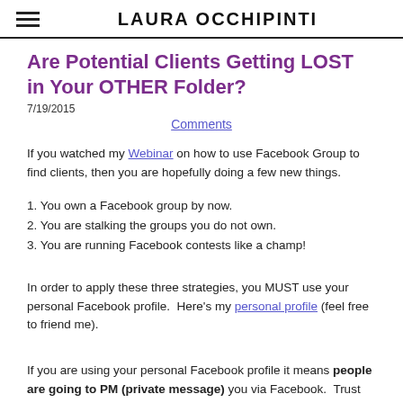LAURA OCCHIPINTI
Are Potential Clients Getting LOST in Your OTHER Folder?
7/19/2015
Comments
If you watched my Webinar on how to use Facebook Group to find clients, then you are hopefully doing a few new things.
1. You own a Facebook group by now.
2. You are stalking the groups you do not own.
3. You are running Facebook contests like a champ!
In order to apply these three strategies, you MUST use your personal Facebook profile.  Here's my personal profile (feel free to friend me).
If you are using your personal Facebook profile it means people are going to PM (private message) you via Facebook.  Trust me, they will. They are going